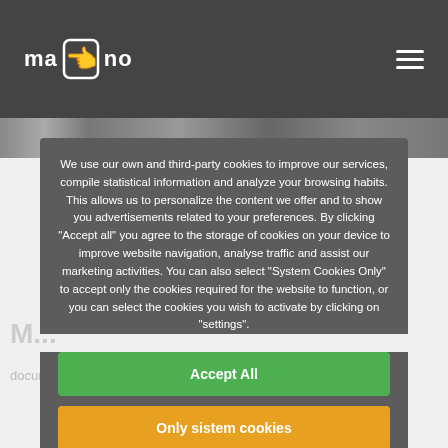[Figure (screenshot): Website header/navigation bar with 'mano' logo with hand icon on the left and hamburger menu icon on the right, on a dark grey background]
We use our own and third-party cookies to improve our services, compile statistical information and analyze your browsing habits. This allows us to personalize the content we offer and to show you advertisements related to your preferences. By clicking "Accept all" you agree to the storage of cookies on your device to improve website navigation, analyse traffic and assist our marketing activities. You can also select "System Cookies Only" to accept only the cookies required for the website to function, or you can select the cookies you wish to activate by clicking on "settings".
Accept All
Only sistem cookies
Configuration